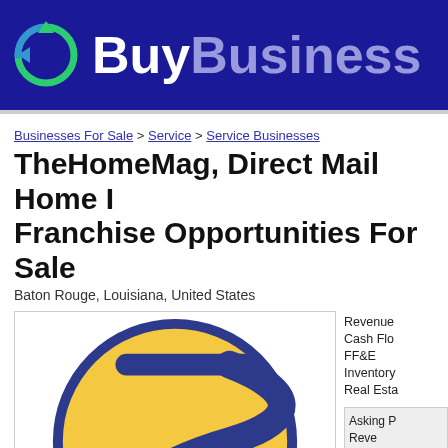[Figure (logo): BuyBusiness logo with dark blue background, circular arrows icon in green/blue, 'Buy' in white bold and 'Business' in light purple bold text]
Businesses For Sale > Service > Service Businesses
TheHomeMag, Direct Mail Home Improvement Franchise Opportunities For Sale
Baton Rouge, Louisiana, United States
[Figure (logo): Sunbelt Business Brokers logo: large yellow circle with dark blue S-shaped arrow/dollar sign, text 'SUNBELT' in dark blue at bottom]
Revenue
Cash Flow
FF&E
Inventory
Real Estate
Asking P...
Revenu...
Cash F...
F...
Invento...
Real Es...